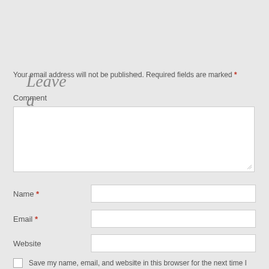Leave a Reply
Your email address will not be published. Required fields are marked *
Comment
Name *
Email *
Website
Save my name, email, and website in this browser for the next time I